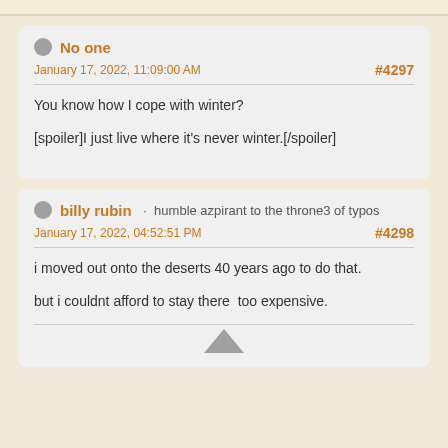No one
January 17, 2022, 11:09:00 AM
#4297
You know how I cope with winter?

[spoiler]I just live where it's never winter.[/spoiler]
billy rubin · humble azpirant to the throne3 of typos
January 17, 2022, 04:52:51 PM
#4298
i moved out onto the deserts 40 years ago to do that.

but i couldnt afford to stay there  too expensive.